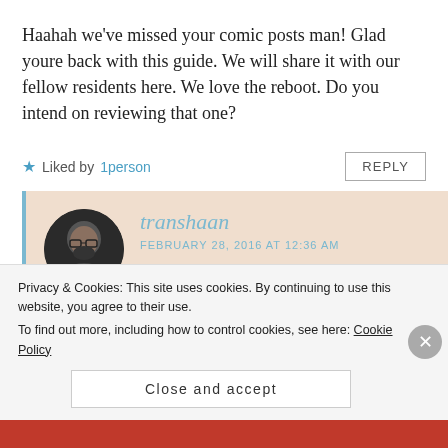Haahah we've missed your comic posts man! Glad youre back with this guide. We will share it with our fellow residents here. We love the reboot. Do you intend on reviewing that one?
★ Liked by 1person   REPLY
transhaan
FEBRUARY 28, 2016 AT 12:36 AM
Privacy & Cookies: This site uses cookies. By continuing to use this website, you agree to their use.
To find out more, including how to control cookies, see here: Cookie Policy
Close and accept